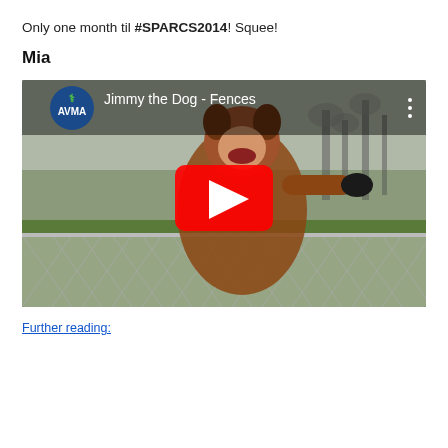Only one month til #SPARCS2014! Squee!
Mia
[Figure (screenshot): YouTube video thumbnail showing a person in a dog costume pointing, standing behind a chain-link fence in a yard. AVMA logo in top left. Video title: Jimmy the Dog - Fences. Red YouTube play button overlay in center.]
Further reading: